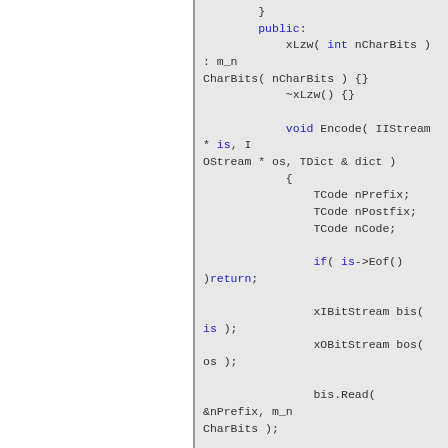[Figure (screenshot): Source code screenshot showing C++ class xLzw with public constructor, destructor, and Encode method implementation including TCode variables, if/return, xIBitStream, xOBitStream, bis.Read, while loop, and dict.Search calls.]